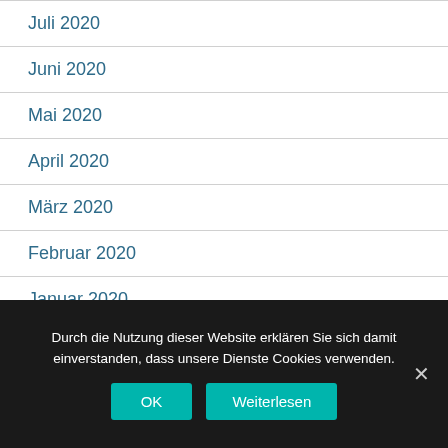Juli 2020
Juni 2020
Mai 2020
April 2020
März 2020
Februar 2020
Januar 2020
Dezember 2019
November 2019
Durch die Nutzung dieser Website erklären Sie sich damit einverstanden, dass unsere Dienste Cookies verwenden.